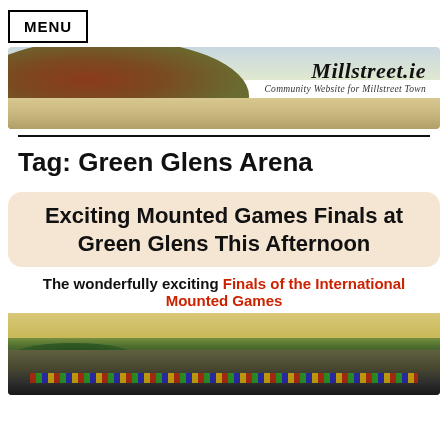MENU
[Figure (photo): Banner photo of Millstreet town with green hills and a mountain in background. Text overlay reads 'Millstreet.ie Community Website for Millstreet Town']
Tag: Green Glens Arena
Exciting Mounted Games Finals at Green Glens This Afternoon
The wonderfully exciting Finals of the International Mounted Games
[Figure (photo): Photo of Green Glens Arena with grandstands, trees, and international flags in foreground under a golden sky.]